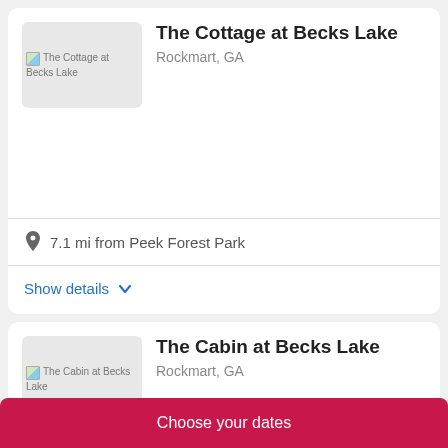[Figure (screenshot): Card listing for The Cottage at Becks Lake showing a broken image placeholder, property title, location, distance, and show details link]
The Cottage at Becks Lake
Rockmart, GA
7.1 mi from Peek Forest Park
Show details
[Figure (screenshot): Card listing for The Cabin at Becks Lake showing a broken image placeholder, property title, and location]
The Cabin at Becks Lake
Rockmart, GA
Choose your dates